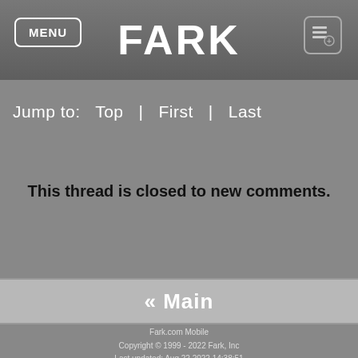MENU | FARK
Jump to:  Top  |  First  |  Last
This thread is closed to new comments.
« Main
Fark.com Mobile
Copyright © 1999 - 2022 Fark, Inc
Last updated: Aug 22 2022 14:38:51
Contact Us via Farkback | Report error | TOS/legal/privacy
Do Not Sell My Personal Information
Full site